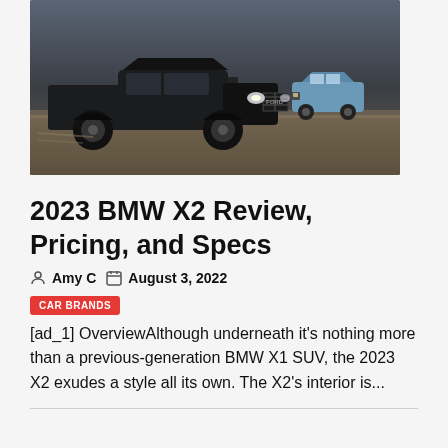[Figure (photo): Two trucks/SUVs driving on a flat desert surface. A large black Ford Raptor pickup truck is in the foreground on the left, and a smaller blue SUV is visible in the background on the right. The lighting is dramatic with a dark sky.]
2023 BMW X2 Review, Pricing, and Specs
Amy C   August 3, 2022
CAR BRANDS
[ad_1] OverviewAlthough underneath it's nothing more than a previous-generation BMW X1 SUV, the 2023 X2 exudes a style all its own. The X2's interior is...